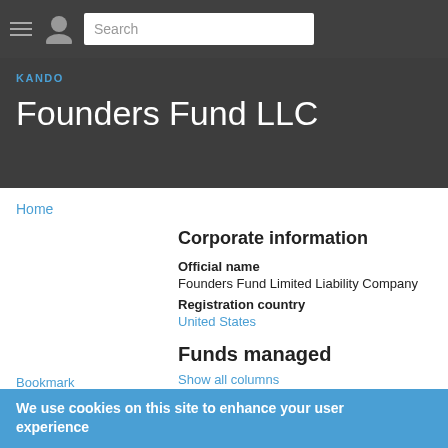Search
KANDO
Founders Fund LLC
Home
Corporate information
Official name
Founders Fund Limited Liability Company
Registration country
United States
Bookmark
Address
Founders Fund LLC
Funds managed
Show all columns
| Fund | Type | Vintage |
| --- | --- | --- |
We use cookies on this site to enhance your user experience